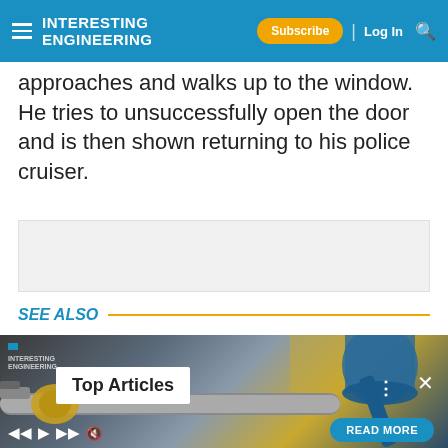INTERESTING ENGINEERING | Subscribe | Log In
approaches and walks up to the window. He tries to unsuccessfully open the door and is then shown returning to his police cruiser.
[Figure (other): Advertisement placeholder box (gray background)]
SEE ALSO
[Figure (photo): Photo of industrial machinery/equipment in a workshop/lab setting with blue cylindrical equipment and metal shafts. Shows a 'Top Articles' popup overlay with IE logo watermark, three dots menu, close button, and Read More button.]